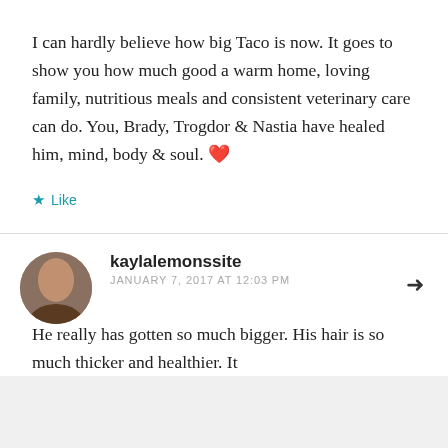I can hardly believe how big Taco is now. It goes to show you how much good a warm home, loving family, nutritious meals and consistent veterinary care can do. You, Brady, Trogdor & Nastia have healed him, mind, body & soul. ❤
Like
kaylalemonssite
JANUARY 7, 2017 AT 12:03 PM
He really has gotten so much bigger. His hair is so much thicker and healthier. It